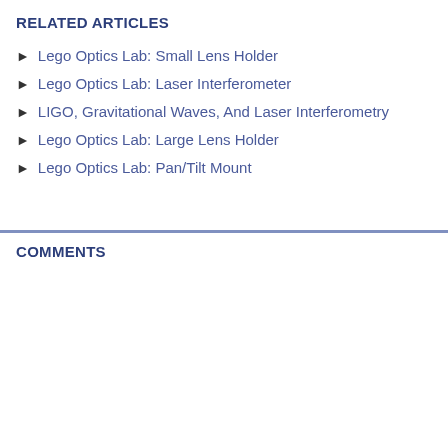RELATED ARTICLES
Lego Optics Lab: Small Lens Holder
Lego Optics Lab: Laser Interferometer
LIGO, Gravitational Waves, And Laser Interferometry
Lego Optics Lab: Large Lens Holder
Lego Optics Lab: Pan/Tilt Mount
COMMENTS